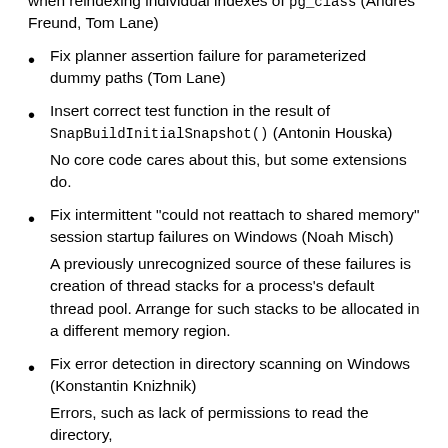when reindexing individual indexes of pg_class (Andres Freund, Tom Lane)
Fix planner assertion failure for parameterized dummy paths (Tom Lane)
Insert correct test function in the result of SnapBuildInitialSnapshot() (Antonin Houska)
No core code cares about this, but some extensions do.
Fix intermittent "could not reattach to shared memory" session startup failures on Windows (Noah Misch)
A previously unrecognized source of these failures is creation of thread stacks for a process's default thread pool. Arrange for such stacks to be allocated in a different memory region.
Fix error detection in directory scanning on Windows (Konstantin Knizhnik)
Errors, such as lack of permissions to read the directory,